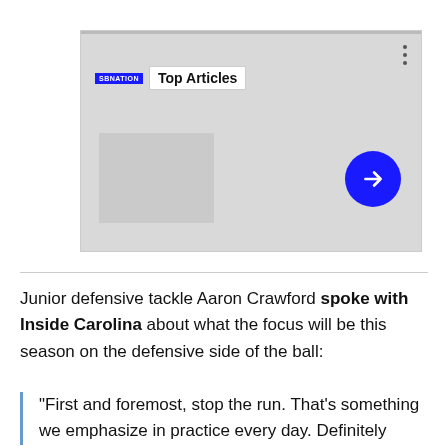[Figure (screenshot): SB Nation 'Top Articles' widget with gray background, arrow navigation button in blue circle, and ghost image placeholder]
Junior defensive tackle Aaron Crawford spoke with Inside Carolina about what the focus will be this season on the defensive side of the ball:
"First and foremost, stop the run. That's something we emphasize in practice every day. Definitely